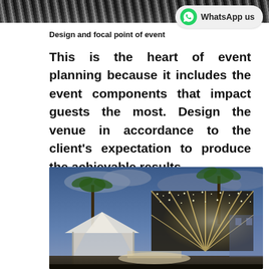[Figure (photo): Close-up texture of dark fur or feathers at the top of the page]
[Figure (other): WhatsApp us button with green WhatsApp logo on a light grey rounded pill background]
Design and focal point of event
This is the heart of event planning because it includes the event components that impact guests the most. Design the venue in accordance to the client's expectation to produce the achievable results.
[Figure (photo): Outdoor evening event venue with a white fabric canopy tent on the left and a large rectangular structure covered in fairy lights on the right, surrounded by palm trees and a twilight blue sky.]